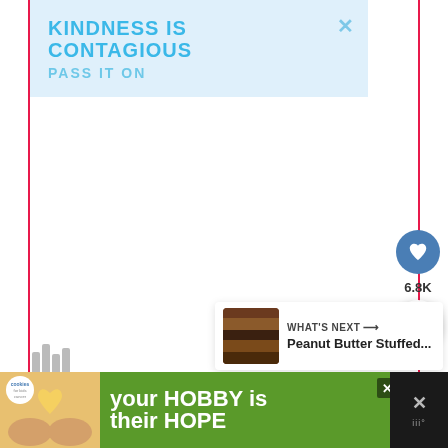[Figure (screenshot): A web page screenshot showing an ad banner at top reading 'KINDNESS IS CONTAGIOUS PASS IT ON' in blue on light blue background with an X close button. Below is a large white content area. On the right side there is a blue heart/like button with count 6.8K below it, and a share button. At bottom right there is a 'WHAT'S NEXT' panel showing a Peanut Butter Stuffed... recipe thumbnail. At the bottom is a 'cookies for kids cancer' charity ad reading 'your HOBBY is their HOPE'. The page has red vertical border lines on the left and right sides.]